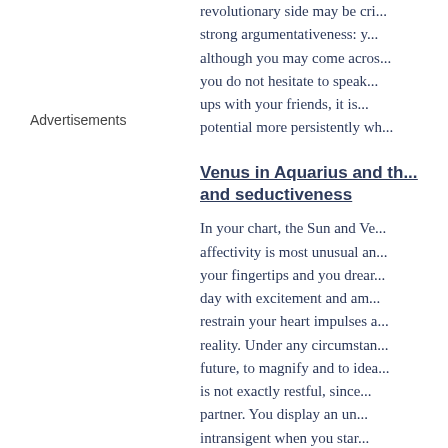revolutionary side may be cri... strong argumentativeness: y... although you may come acros... you do not hesitate to speak... ups with your friends, it is... potential more persistently wh...
Advertisements
Venus in Aquarius and th... and seductiveness
In your chart, the Sun and Ve... affectivity is most unusual an... your fingertips and you drear... day with excitement and am... restrain your heart impulses a... reality. Under any circumstan... future, to magnify and to idea... is not exactly restful, since... partner. You display an un... intransigent when you star...